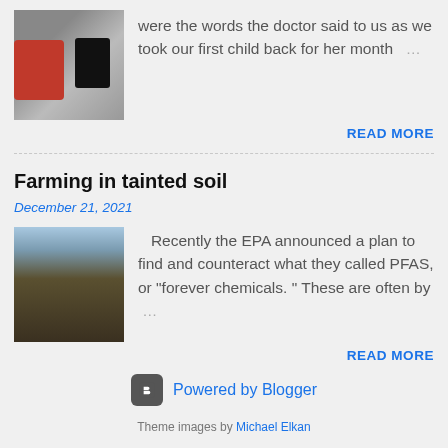[Figure (photo): Thumbnail photo of a person in red sleeve near a device or screen]
were the words the doctor said to us as we took our first child back for her month …
READ MORE
Farming in tainted soil
December 21, 2021
[Figure (photo): Thumbnail photo of farmland/soil, sky visible at top]
Recently the EPA announced a plan to find and counteract what they called PFAS, or "forever chemicals. " These are often by …
READ MORE
Powered by Blogger
Theme images by Michael Elkan